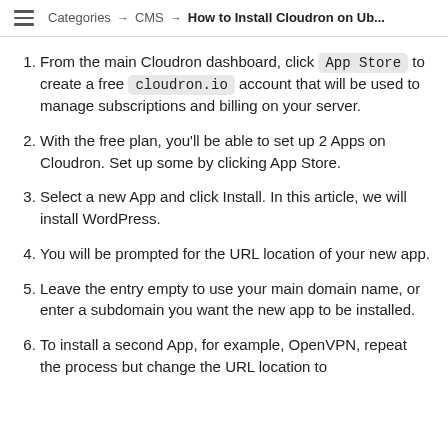Categories → CMS → How to Install Cloudron on Ub...
From the main Cloudron dashboard, click App Store to create a free cloudron.io account that will be used to manage subscriptions and billing on your server.
With the free plan, you'll be able to set up 2 Apps on Cloudron. Set up some by clicking App Store.
Select a new App and click Install. In this article, we will install WordPress.
You will be prompted for the URL location of your new app.
Leave the entry empty to use your main domain name, or enter a subdomain you want the new app to be installed.
To install a second App, for example, OpenVPN, repeat the process but change the URL location to